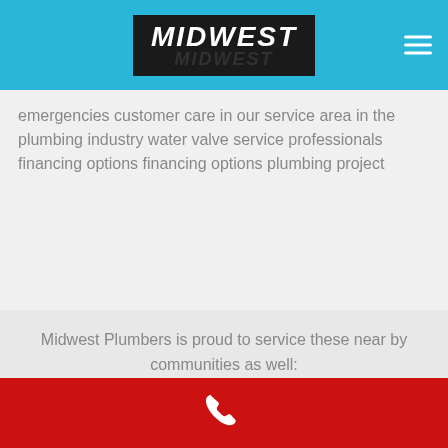MIDWEST
emergencies customer care in our service area in the plumbing industry water valve service professionals financing options financing options plumbing project
Midwest Plumbers is proud to service these near by communities as well: Kasigluk and Ketchikan
COMPANY
[Figure (other): Red bar with white phone icon at the bottom of the page]